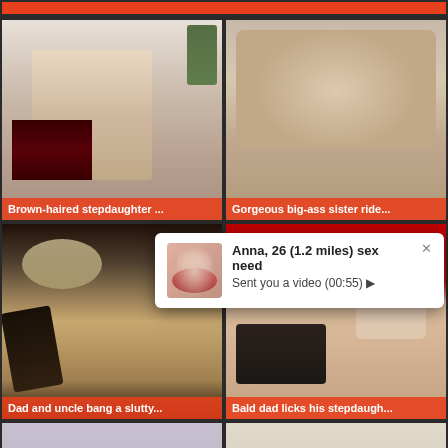[Figure (screenshot): Adult content website screenshot showing video thumbnails in a 2-column grid layout with orange accents]
Brown-haired stepdaughter ...
Gorgeous big-ass sister ride...
Dad and uncle bang a slutty...
Bald dad licks his stepdaugh...
Anna, 26 (1.2 miles) sex need
Sent you a video (00:55) ▶